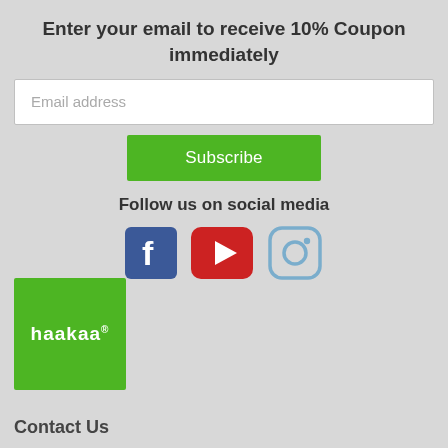Enter your email to receive 10% Coupon immediately
Email address
Subscribe
Follow us on social media
[Figure (logo): Social media icons: Facebook (blue f), YouTube (red play button), Instagram (blue/gray camera outline)]
[Figure (logo): Haakaa brand logo — green square with white lowercase text 'haakaa' and registered trademark symbol]
Contact Us